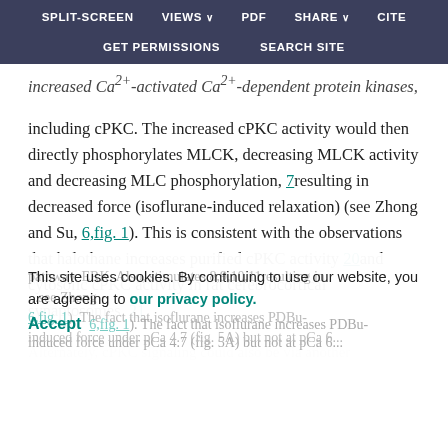SPLIT-SCREEN   VIEWS   PDF   SHARE   CITE   GET PERMISSIONS   SEARCH SITE
increased Ca2+-activated Ca2+-dependent protein kinases, including cPKC. The increased cPKC activity would then directly phosphorylates MLCK, decreasing MLCK activity and decreasing MLC phosphorylation, 7resulting in decreased force (isoflurane-induced relaxation) (see Zhong and Su, 6,fig. 1). This is consistent with the observations that halothane increases purified cPKC activity 20and cytosolic cPKC activity in rat cerebrocortical synaptosomes. 21
Alternately, cPKC signaling could also be via another pathway. ERK. Also, stimulates 8,9,10,11resulting in ... see Zhong 6,fig. 1). The fact that isoflurane increases PDBu-induced force under pCa 4.7 (fig. 5A) but not at pCa 6...